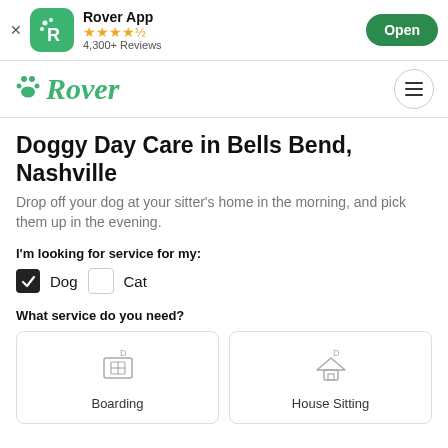[Figure (screenshot): App banner with Rover App icon, 4.5 star rating, 4,300+ Reviews, and Open button]
[Figure (logo): Rover logo with paw print icon in green, and hamburger menu button]
Doggy Day Care in Bells Bend, Nashville
Drop off your dog at your sitter's home in the morning, and pick them up in the evening.
I'm looking for service for my:
Dog (checked), Cat (unchecked)
What service do you need?
Boarding
House Sitting